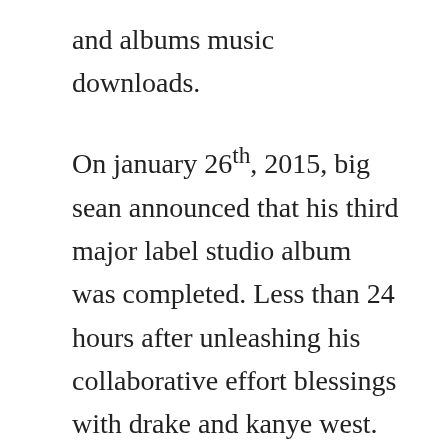and albums music downloads.
On january 26th, 2015, big sean announced that his third major label studio album was completed. Less than 24 hours after unleashing his collaborative effort blessings with drake and kanye west. Song world ablaze album version explicit artist big sean. Mona lisa lyrics, nothing is stopping you lyrics, fire lyrics, toyota music lyrics, all figured out lyrics, you dont know lyrics, freaky lyrics, 10 2 10 lyrics, sierra leone lyrics, ashley feat. Big sean drops new album, i decided